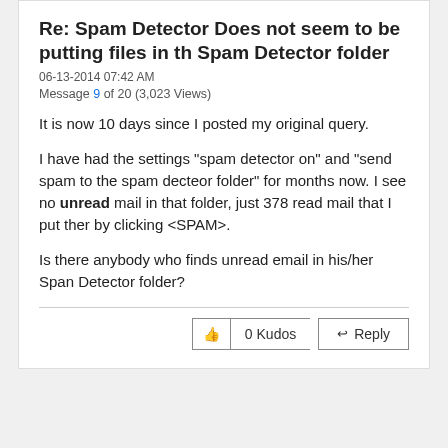Re: Spam Detector Does not seem to be putting files in th Spam Detector folder
06-13-2014 07:42 AM
Message 9 of 20 (3,023 Views)
It is now 10 days since I posted my original query.
I have had the settings "spam detector on" and "send spam to the spam decteor folder" for months now. I see no unread mail in that folder, just 378 read mail that I put ther by clicking <SPAM>.
Is there anybody who finds unread email in his/her Span Detector folder?